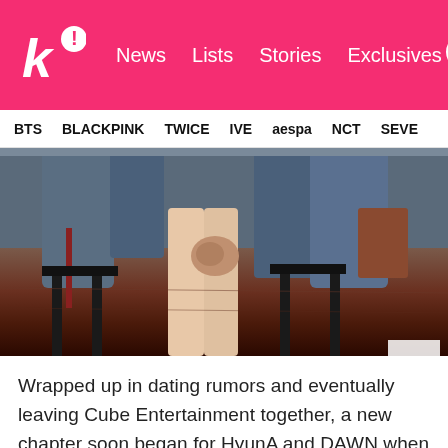k! News | Lists | Stories | Exclusives
BTS | BLACKPINK | TWICE | IVE | aespa | NCT | SEVE
[Figure (photo): Close-up photo of two people sitting side by side on chairs, legs and lower bodies visible, wearing denim/casual clothing on a reddish-brown floor background.]
Wrapped up in dating rumors and eventually leaving Cube Entertainment together, a new chapter soon began for HyunA and DAWN when they went public with their relationship.